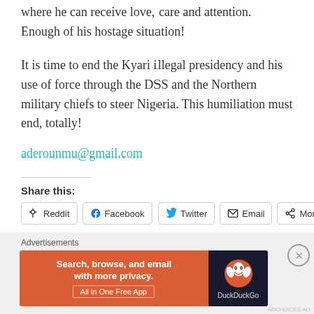where he can receive love, care and attention. Enough of his hostage situation!
It is time to end the Kyari illegal presidency and his use of force through the DSS and the Northern military chiefs to steer Nigeria. This humiliation must end, totally!
aderounmu@gmail.com
Share this:
[Figure (screenshot): Share buttons row: Reddit, Facebook, Twitter, Email, More]
[Figure (infographic): DuckDuckGo advertisement banner: Search, browse, and email with more privacy. All in One Free App. DuckDuckGo logo on dark background.]